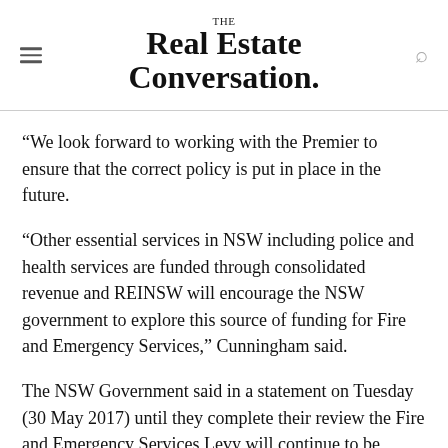THE Real Estate Conversation.
“We look forward to working with the Premier to ensure that the correct policy is put in place in the future.
“Other essential services in NSW including police and health services are funded through consolidated revenue and REINSW will encourage the NSW government to explore this source of funding for Fire and Emergency Services,” Cunningham said.
The NSW Government said in a statement on Tuesday (30 May 2017) until they complete their review the Fire and Emergency Services Levy will continue to be collected via insurance policies.